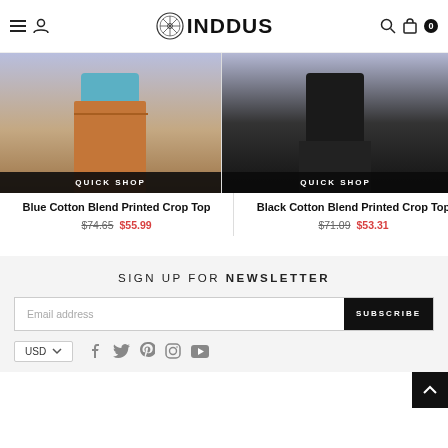INDDUS
[Figure (photo): Two product images side by side: left shows Blue Cotton Blend Printed Crop Top with brown pants on purple background, right shows Black Cotton Blend Printed Crop Top on purple/black background. Both cards have QUICK SHOP buttons.]
Blue Cotton Blend Printed Crop Top $74.65 $55.99
Black Cotton Blend Printed Crop Top $71.09 $53.31
SIGN UP FOR NEWSLETTER
Email address
SUBSCRIBE
USD